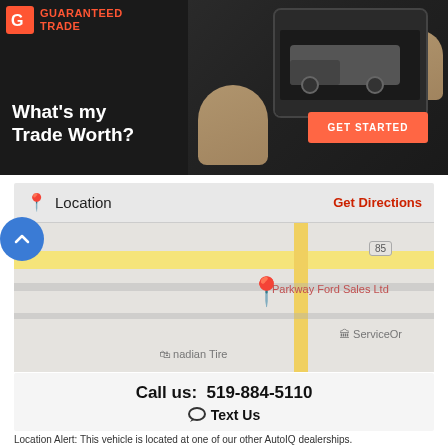[Figure (screenshot): Guaranteed Trade banner ad showing hands holding a tablet with a truck on screen. Headline reads 'What's my Trade Worth?' with an orange 'GET STARTED' button.]
Location
Get Directions
[Figure (map): Google Maps view showing Parkway Ford Sales Ltd pin location with nearby roads including route 85, Canadian Tire, and ServiceOntario.]
Call us:  519-884-5110
Text Us
Location Alert: This vehicle is located at one of our other AutoIQ dealerships.